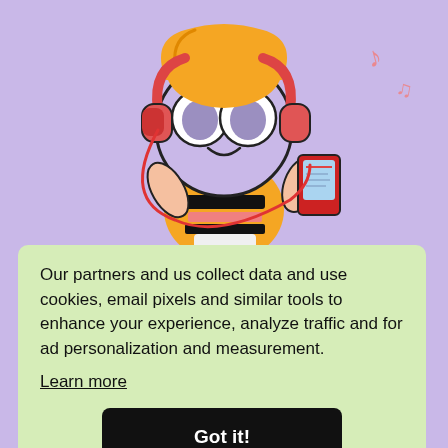[Figure (illustration): Cartoon character (Bubbles from Powerpuff Girls) wearing orange outfit and pink headphones, holding a music player/phone with a red cord, with musical notes floating nearby, on a purple/lavender background.]
Our partners and us collect data and use cookies, email pixels and similar tools to enhance your experience, analyze traffic and for ad personalization and measurement.
Learn more
Got it!